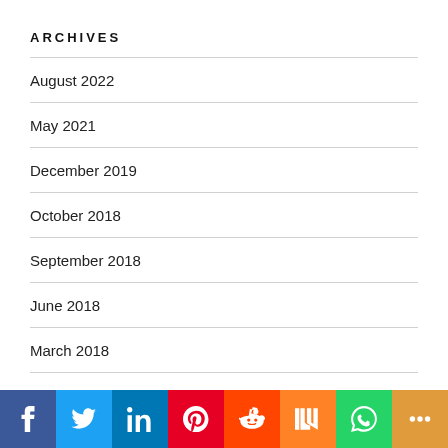ARCHIVES
August 2022
May 2021
December 2019
October 2018
September 2018
June 2018
March 2018
December 2017
September 2017
[Figure (infographic): Social sharing bar with icons for Facebook, Twitter, LinkedIn, Pinterest, Reddit, Mix, WhatsApp, and More]